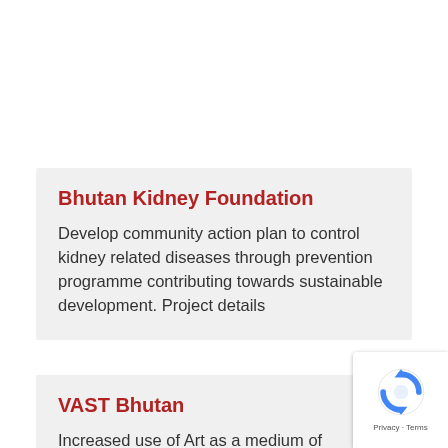Bhutan Kidney Foundation
Develop community action plan to control kidney related diseases through prevention programme contributing towards sustainable development. Project details
VAST Bhutan
Increased use of Art as a medium of expression by socio